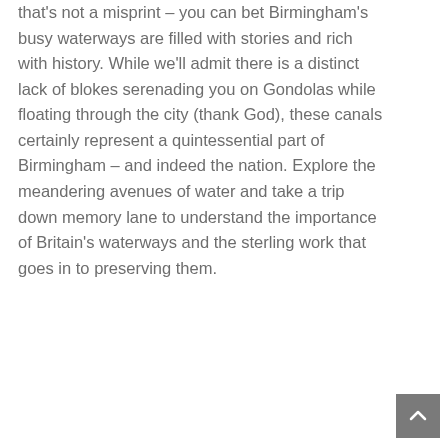that's not a misprint – you can bet Birmingham's busy waterways are filled with stories and rich with history. While we'll admit there is a distinct lack of blokes serenading you on Gondolas while floating through the city (thank God), these canals certainly represent a quintessential part of Birmingham – and indeed the nation. Explore the meandering avenues of water and take a trip down memory lane to understand the importance of Britain's waterways and the sterling work that goes in to preserving them.